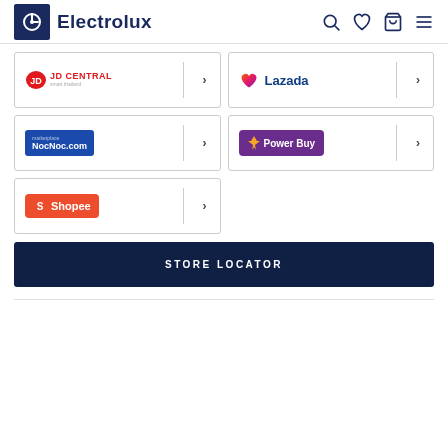[Figure (logo): Electrolux logo with dark blue square icon and text]
[Figure (logo): JD Central retailer card with arrow]
[Figure (logo): Lazada retailer card with arrow]
[Figure (logo): NocNoc.com retailer card with arrow]
[Figure (logo): Power Buy retailer card with arrow]
[Figure (logo): Shopee retailer card with arrow]
STORE LOCATOR